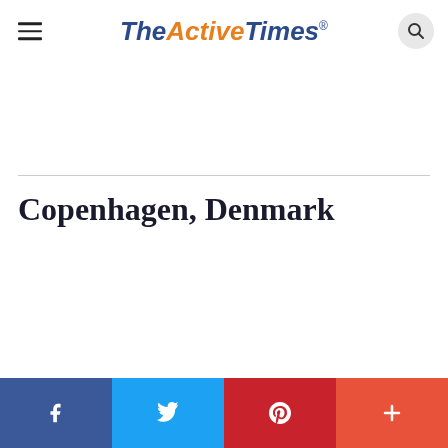TheActiveTimes
Copenhagen, Denmark
Social share bar: Facebook, Twitter, Pinterest, More